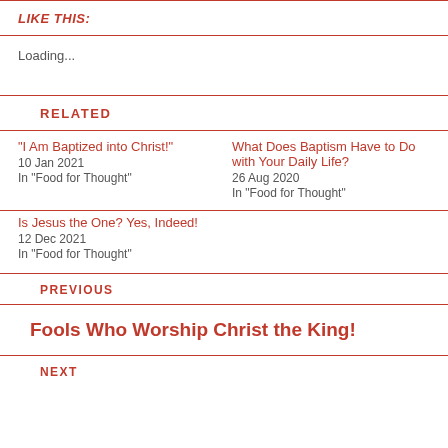LIKE THIS:
Loading...
RELATED
"I Am Baptized into Christ!"
10 Jan 2021
In "Food for Thought"
What Does Baptism Have to Do with Your Daily Life?
26 Aug 2020
In "Food for Thought"
Is Jesus the One? Yes, Indeed!
12 Dec 2021
In "Food for Thought"
PREVIOUS
Fools Who Worship Christ the King!
NEXT